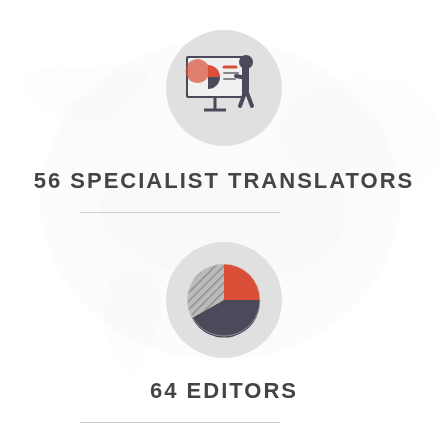[Figure (illustration): Gray circle icon with a person presenting a pie chart on a board, in dark gray and red colors]
56 SPECIALIST TRANSLATORS
[Figure (illustration): Gray circle icon with a pie chart showing red, hatched, and dark gray segments]
64 EDITORS